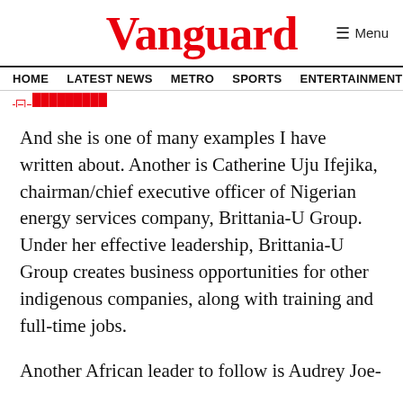Vanguard
≡ Menu
HOME  LATEST NEWS  METRO  SPORTS  ENTERTAINMENT  VIDEOS
And she is one of many examples I have written about. Another is Catherine Uju Ifejika, chairman/chief executive officer of Nigerian energy services company, Brittania-U Group. Under her effective leadership, Brittania-U Group creates business opportunities for other indigenous companies, along with training and full-time jobs.
Another African leader to follow is Audrey Joe-